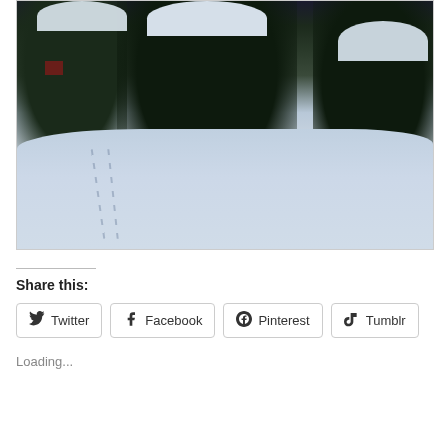[Figure (photo): Winter scene photograph showing snow-covered evergreen trees and shrubs with tracks in deep snow in the foreground. A red structure is partially visible on the left. The scene appears to be a backyard or garden in winter.]
Share this:
Twitter  Facebook  Pinterest  Tumblr
Loading...